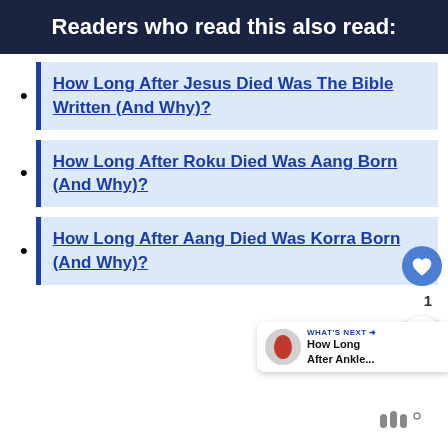Readers who read this also read:
How Long After Jesus Died Was The Bible Written (And Why)?
How Long After Roku Died Was Aang Born (And Why)?
How Long After Aang Died Was Korra Born (And Why)?